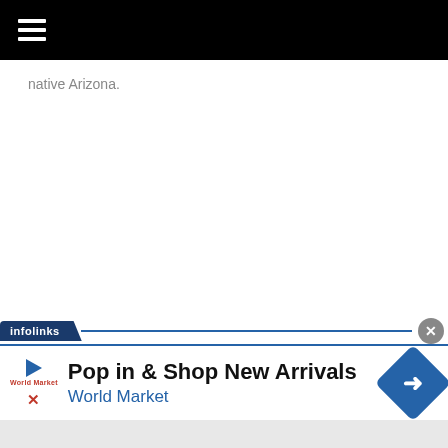☰ (hamburger menu navigation bar)
native Arizona.
[Figure (screenshot): Infolinks advertisement banner with 'Pop in & Shop New Arrivals' headline and 'World Market' brand link, with blue navigation arrow diamond icon on the right]